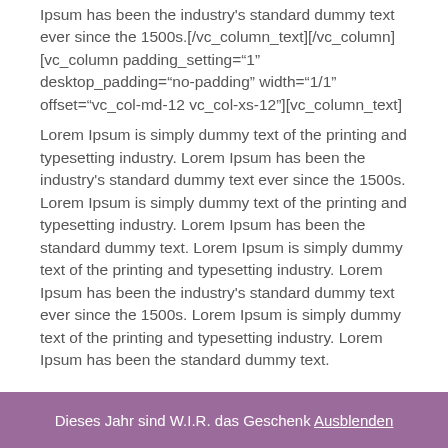Ipsum has been the industry's standard dummy text ever since the 1500s.[/vc_column_text][/vc_column][vc_column padding_setting="1" desktop_padding="no-padding" width="1/1" offset="vc_col-md-12 vc_col-xs-12"][vc_column_text]
Lorem Ipsum is simply dummy text of the printing and typesetting industry. Lorem Ipsum has been the industry's standard dummy text ever since the 1500s. Lorem Ipsum is simply dummy text of the printing and typesetting industry. Lorem Ipsum has been the standard dummy text. Lorem Ipsum is simply dummy text of the printing and typesetting industry. Lorem Ipsum has been the industry's standard dummy text ever since the 1500s. Lorem Ipsum is simply dummy text of the printing and typesetting industry. Lorem Ipsum has been the standard dummy text.
[/vc_column_text][/vc_column][/vc_row]
Dieses Jahr sind W.I.R. das Geschenk Ausblenden